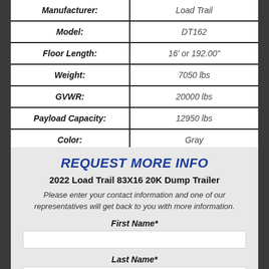| Field | Value |
| --- | --- |
| Manufacturer: | Load Trail |
| Model: | DT162 |
| Floor Length: | 16' or 192.00" |
| Weight: | 7050 lbs |
| GVWR: | 20000 lbs |
| Payload Capacity: | 12950 lbs |
| Color: | Gray |
REQUEST MORE INFO
2022 Load Trail 83X16 20K Dump Trailer
Please enter your contact information and one of our representatives will get back to you with more information.
First Name*
Last Name*
Preferred Contact*